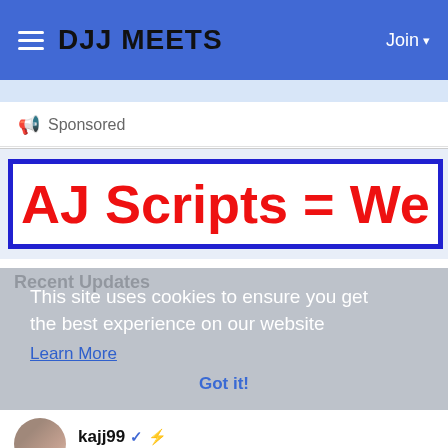DJJ MEETS  Join
Sponsored
[Figure (screenshot): Ad banner with blue border, text: AJ Scripts = We S...]
Recent Updates
This site uses cookies to ensure you get the best experience on our website Learn More Got it!
kajj99  ✓ ⚡  4 hours ago - Translate  IT'S COMING! BELARUS WILL NUKE. PAIN INSIDE OF EVERY HOUSEHOLD. https://www.youtube.com/watch?